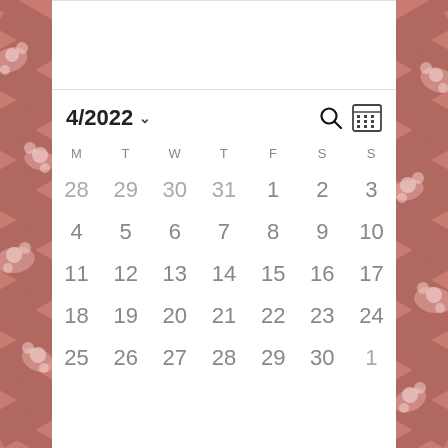4/2022
| M | T | W | T | F | S | S |
| --- | --- | --- | --- | --- | --- | --- |
| 28 | 29 | 30 | 31 | 1 | 2 | 3 |
| 4 | 5 | 6 | 7 | 8 | 9 | 10 |
| 11 | 12 | 13 | 14 | 15 | 16 | 17 |
| 18 | 19 | 20 | 21 | 22 | 23 | 24 |
| 25 | 26 | 27 | 28 | 29 | 30 | 1 |